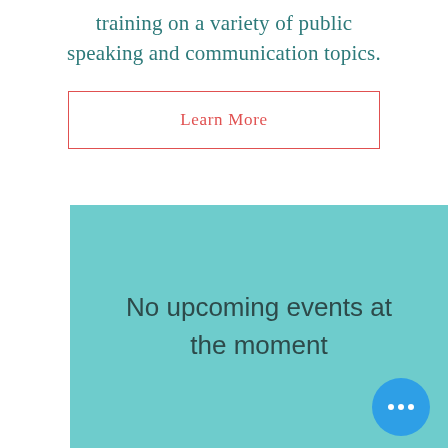training on a variety of public speaking and communication topics.
Learn More
No upcoming events at the moment